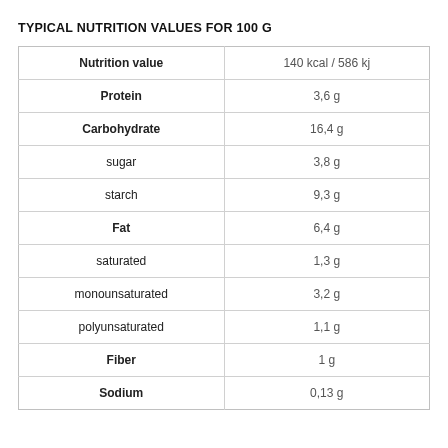TYPICAL NUTRITION VALUES FOR 100 G
| Nutrition value | 140 kcal / 586 kj |
| --- | --- |
| Protein | 3,6 g |
| Carbohydrate | 16,4 g |
| sugar | 3,8 g |
| starch | 9,3 g |
| Fat | 6,4 g |
| saturated | 1,3 g |
| monounsaturated | 3,2 g |
| polyunsaturated | 1,1 g |
| Fiber | 1 g |
| Sodium | 0,13 g |